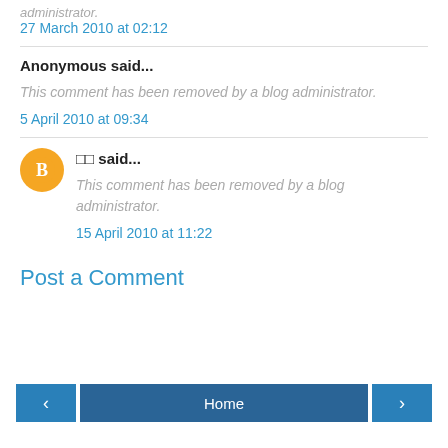administrator.
27 March 2010 at 02:12
Anonymous said...
This comment has been removed by a blog administrator.
5 April 2010 at 09:34
□□ said...
This comment has been removed by a blog administrator.
15 April 2010 at 11:22
Post a Comment
Home